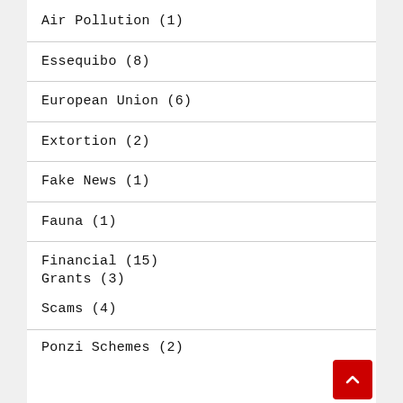Air Pollution (1)
Essequibo (8)
European Union (6)
Extortion (2)
Fake News (1)
Fauna (1)
Financial (15)
Grants (3)
Scams (4)
Ponzi Schemes (2)